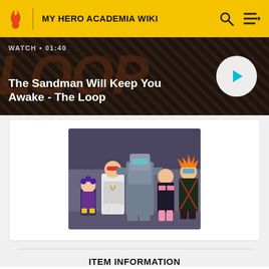MY HERO ACADEMIA WIKI
The Sandman Will Keep You Awake - The Loop
WATCH • 01:40
[Figure (illustration): Screenshot from My Hero Academia anime showing group of characters in hero costumes including Mineta, a tall male hero in white armor, Mei Hatsume, Ochaco Uraraka, and Katsuki Bakugo posing together in front of a grey industrial background.]
ITEM INFORMATION